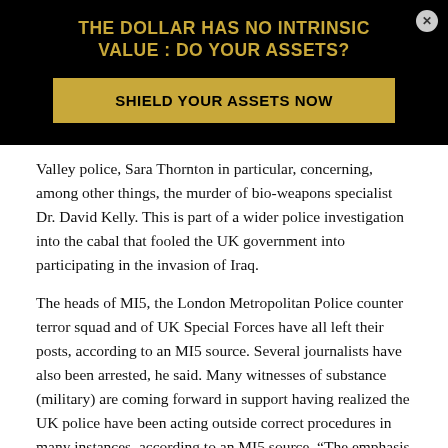[Figure (infographic): Black background advertisement banner with gold text title 'THE DOLLAR HAS NO INTRINSIC VALUE : DO YOUR ASSETS?' and a gold button reading 'SHIELD YOUR ASSETS NOW'. A small circular close button (x) is in the top right corner.]
Valley police, Sara Thornton in particular, concerning, among other things, the murder of bio-weapons specialist Dr. David Kelly. This is part of a wider police investigation into the cabal that fooled the UK government into participating in the invasion of Iraq.
The heads of MI5, the London Metropolitan Police counter terror squad and of UK Special Forces have all left their posts, according to an MI5 source. Several journalists have also been arrested, he said. Many witnesses of substance (military) are coming forward in support having realized the UK police have been acting outside correct procedures in many instances, according to an MI5 source. “The emphasis will now be on internal investigations of corruption in the Police